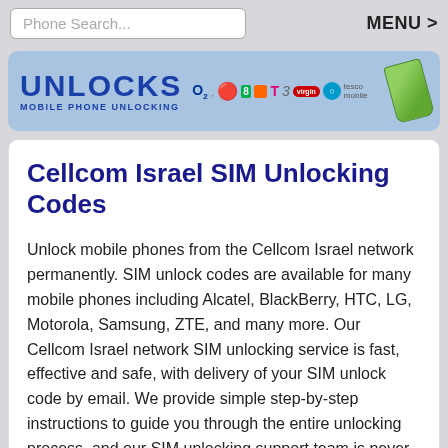Phone Search...   MENU >
[Figure (logo): Unlocks Mobile Phone Unlocking banner with network operator logos (O2, Vodafone, EE, Orange, T-Mobile, Three, Virgin, Sky, Tesco) and a green phone illustration]
Cellcom Israel SIM Unlocking Codes
Unlock mobile phones from the Cellcom Israel network permanently. SIM unlock codes are available for many mobile phones including Alcatel, BlackBerry, HTC, LG, Motorola, Samsung, ZTE, and many more. Our Cellcom Israel network SIM unlocking service is fast, effective and safe, with delivery of your SIM unlock code by email. We provide simple step-by-step instructions to guide you through the entire unlocking process, and our SIM unlocking support team is never far away if you need assistance. Select your phone